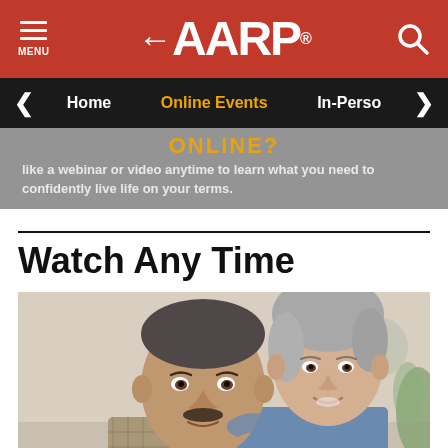MENU | AARP® | Search
Home | Online Events | In-Person
ONLINE? like a webinar or video anytime to learn what you need to confidently live life on your terms.
Watch Any Time
[Figure (photo): Smiling older couple, man with mustache in foreground and woman with short grey hair leaning over his shoulder, both smiling warmly.]